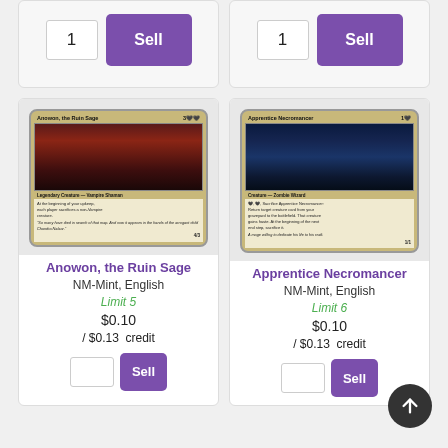[Figure (screenshot): Partial top section showing quantity input '1' and purple 'Sell' button for left card]
[Figure (screenshot): Partial top section showing quantity input '1' and purple 'Sell' button for right card]
[Figure (illustration): Magic: The Gathering card image - Anowon, the Ruin Sage (Legendary Creature - Vampire Shaman, 4/3)]
Anowon, the Ruin Sage
NM-Mint, English
Limit 5
$0.10
/ $0.13  credit
[Figure (illustration): Magic: The Gathering card image - Apprentice Necromancer (Creature - Zombie Wizard, 1/1)]
Apprentice Necromancer
NM-Mint, English
Limit 6
$0.10
/ $0.13  credit